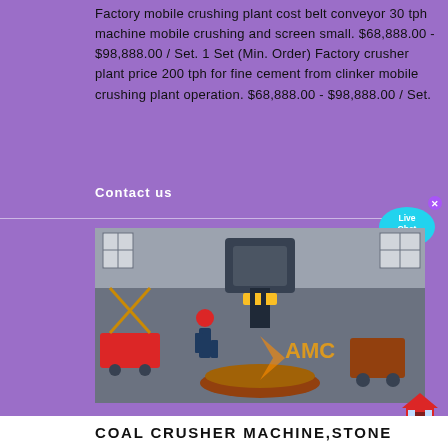Factory mobile crushing plant cost belt conveyor 30 tph machine mobile crushing and screen small. $68,888.00 - $98,888.00 / Set. 1 Set (Min. Order) Factory crusher plant price 200 tph for fine cement from clinker mobile crushing plant operation. $68,888.00 - $98,888.00 / Set.
Contact us
[Figure (other): Live Chat speech bubble icon in cyan/blue color with 'Live Chat' text and a small X close button]
[Figure (photo): Industrial factory interior showing a worker in red hard hat and blue uniform operating a large heavy machinery (cone crusher or similar industrial equipment) with AMC logo watermark visible. Large industrial windows in background.]
[Figure (illustration): Small red house/home icon]
COAL CRUSHER MACHINE,STONE